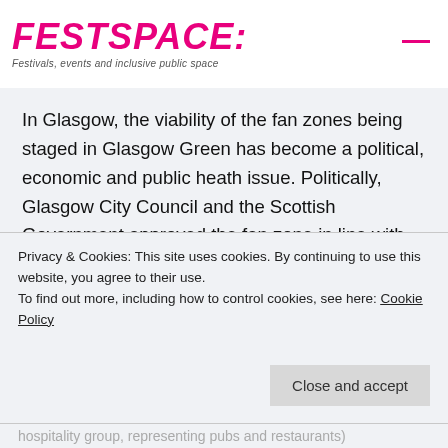FESTSPACE: Festivals, events and inclusive public space
In Glasgow, the viability of the fan zones being staged in Glasgow Green has become a political, economic and public heath issue. Politically, Glasgow City Council and the Scottish Government approved the fan zone in line with COVID protocols. Initially, the fan zone was identified as a pilot event to test readiness for other sporting and cultural events in the summer of 2021. However, it soon became clear that the event was going to be licensed to serve alcohol (approved by the
Privacy & Cookies: This site uses cookies. By continuing to use this website, you agree to their use.
To find out more, including how to control cookies, see here: Cookie Policy
Close and accept
hospitality group, representing pubs and restaurants)